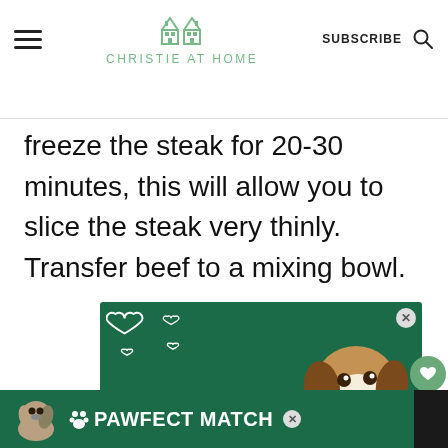CHRISTIE AT HOME
freeze the steak for 20-30 minutes, this will allow you to slice the steak very thinly. Transfer beef to a mixing bowl.
[Figure (infographic): Advertisement banner with green background showing a beagle dog and text: FOSTER ADOPT RESCUE with heart icons]
[Figure (infographic): Bottom advertisement banner with green background showing a small dog and text: PAWFECT MATCH]